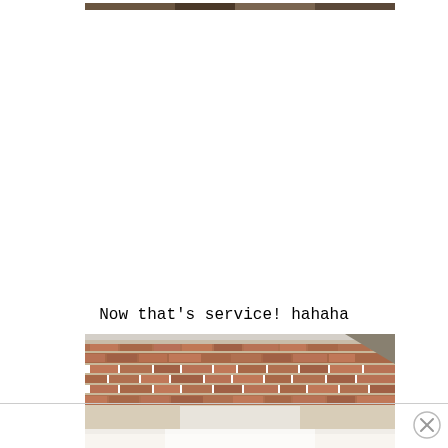[Figure (photo): Top portion of a photo showing dark brown/earth tones, appears to be a natural or outdoor scene — only bottom edge visible at top of page]
Now that's service! hahaha
[Figure (photo): Photo of a brick house exterior showing red/brown brick facade with mortar and partial garage door area below; appears to be a roofline/upper wall of a residential home]